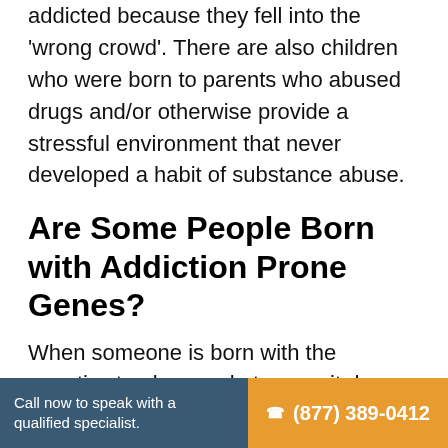addicted because they fell into the 'wrong crowd'. There are also children who were born to parents who abused drugs and/or otherwise provide a stressful environment that never developed a habit of substance abuse.
Are Some People Born with Addiction Prone Genes?
When someone is born with the genetics to abuse substances, it does not mean that they will. In studies involving twins, scientists have found that the genetics of each twin evolves separately over time. These evolutions can be handed down to their children. People who develop substance abuse
Call now to speak with a qualified specialist. ☎ (877) 389-0412